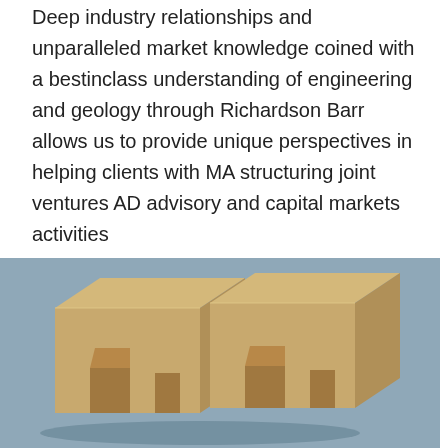Deep industry relationships and unparalleled market knowledge coined with a bestinclass understanding of engineering and geology through Richardson Barr allows us to provide unique perspectives in helping clients with MA structuring joint ventures AD advisory and capital markets activities
[Figure (photo): Photo of two interlocking refractory bricks with groove-and-tongue joints, sandy/tan colored, on a blue-gray surface.]
Refractory Products and Monolithics HWI
Check out our selection of leading refractory products Search our wide range of bricks monolithics hightemperature insulation materials fiber insulating firebrick and precast shapes For a